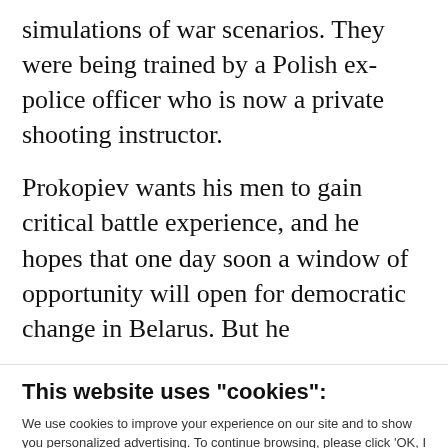simulations of war scenarios. They were being trained by a Polish ex-police officer who is now a private shooting instructor.
Prokopiev wants his men to gain critical battle experience, and he hopes that one day soon a window of opportunity will open for democratic change in Belarus. But he
This website uses "cookies":
We use cookies to improve your experience on our site and to show you personalized advertising. To continue browsing, please click 'OK, I Accept'.
For more information, please read our Privacy Policy
Ok, I Accept